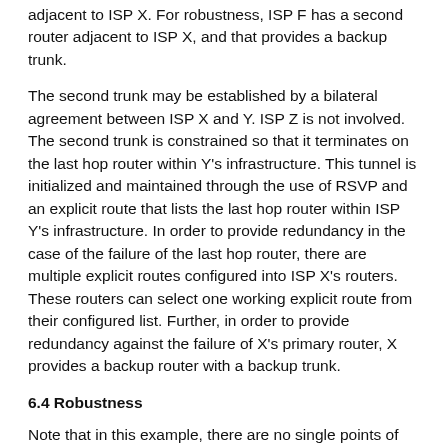adjacent to ISP X. For robustness, ISP F has a second router adjacent to ISP X, and that provides a backup trunk.
The second trunk may be established by a bilateral agreement between ISP X and Y. ISP Z is not involved. The second trunk is constrained so that it terminates on the last hop router within Y's infrastructure. This tunnel is initialized and maintained through the use of RSVP and an explicit route that lists the last hop router within ISP Y's infrastructure. In order to provide redundancy in the case of the failure of the last hop router, there are multiple explicit routes configured into ISP X's routers. These routers can select one working explicit route from their configured list. Further, in order to provide redundancy against the failure of X's primary router, X provides a backup router with a backup trunk.
6.4 Robustness
Note that in this example, there are no single points of failure once the traffic is within ISP F's network. Each trunk